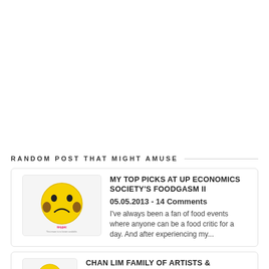RANDOM POST THAT MIGHT AMUSE
[Figure (illustration): Yellow sad/frown emoji-like character with dark circles on cheeks and tinypic watermark placeholder image]
MY TOP PICKS AT UP ECONOMICS SOCIETY'S FOODGASM II
05.05.2013 - 14 Comments
I've always been a fan of food events where anyone can be a food critic for a day. And after experiencing my...
[Figure (illustration): Yellow sad/frown emoji-like character placeholder]
CHAN LIM FAMILY OF ARTISTS & STUDENTS EXHIBIT